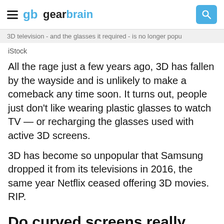gearbrain
3D television - and the glasses it required - is no longer popu
iStock
All the rage just a few years ago, 3D has fallen by the wayside and is unlikely to make a comeback any time soon. It turns out, people just don't like wearing plastic glasses to watch TV — or recharging the glasses used with active 3D screens.
3D has become so unpopular that Samsung dropped it from its televisions in 2016, the same year Netflix ceased offering 3D movies. RIP.
Do curved screens really make a difference?